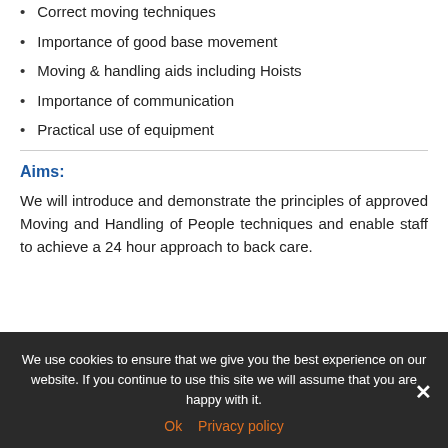Correct moving techniques
Importance of good base movement
Moving & handling aids including Hoists
Importance of communication
Practical use of equipment
Aims:
We will introduce and demonstrate the principles of approved Moving and Handling of People techniques and enable staff to achieve a 24 hour approach to back care.
We use cookies to ensure that we give you the best experience on our website. If you continue to use this site we will assume that you are happy with it.
Ok   Privacy policy